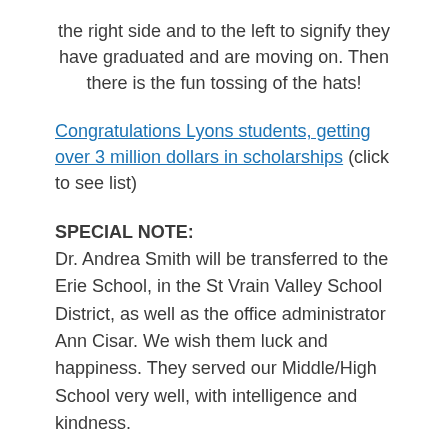the right side and to the left to signify they have graduated and are moving on. Then there is the fun tossing of the hats!
Congratulations Lyons students, getting over 3 million dollars in scholarships (click to see list)
SPECIAL NOTE:
Dr. Andrea Smith will be transferred to the Erie School, in the St Vrain Valley School District, as well as the office administrator Ann Cisar. We wish them luck and happiness. They served our Middle/High School very well, with intelligence and kindness.
Mark Roberts is retiring from SVVSD after 31